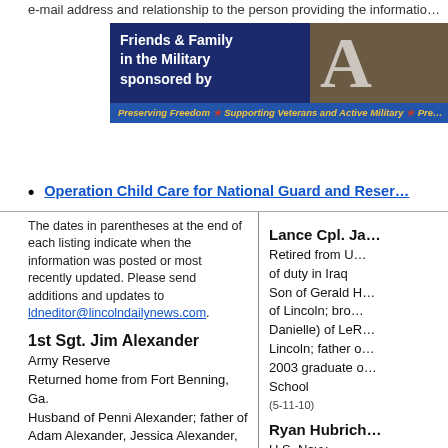e-mail address and relationship to the person providing the information…
[Figure (illustration): Friends & Family in the Military sponsored by — banner with dark blue background, text in white, brown photo section with large letter A, gold strip at bottom reading 'Preserving Freedom ★ Supporting Veterans and Active Military ★ Pre…']
Operation Child Care for National Guard and Reser…
The dates in parentheses at the end of each listing indicate when the information was posted or most recently updated. Please send additions and updates to ldneditor@lincolndailynews.com.
1st Sgt. Jim Alexander
Army Reserve
Returned home from Fort Benning, Ga.
Husband of Penni Alexander; father of Adam Alexander, Jessica Alexander, Zach Wachter, Marlise Wachter
(12-22-04)
Jacob Allen
Iraq
Lance Cpl. Ja…
Retired from U…
of duty in Iraq
Son of Gerald H…
of Lincoln; bro…
Danielle) of LeR…
Lincoln; father o…
2003 graduate o…
School
(5-11-10)
Ryan Hubrich…
U.S. Navy
Based at Pearl H…